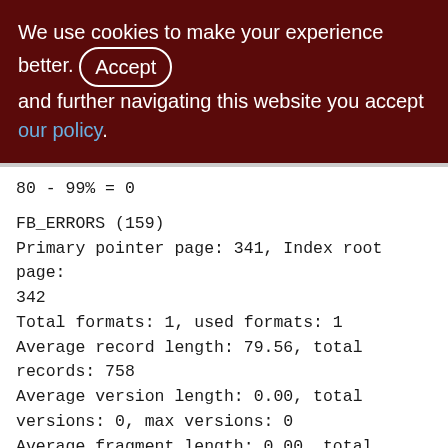We use cookies to make your experience better. By accepting and further navigating this website you accept our policy.
80 - 99% = 0
FB_ERRORS (159)
Primary pointer page: 341, Index root page: 342
Total formats: 1, used formats: 1
Average record length: 79.56, total records: 758
Average version length: 0.00, total versions: 0, max versions: 0
Average fragment length: 0.00, total fragments: 0, max fragments: 0